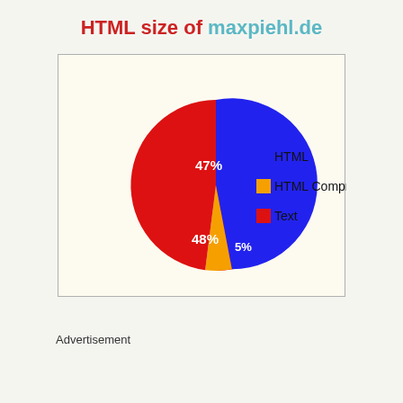HTML size of maxpiehl.de
[Figure (pie-chart): HTML size of maxpiehl.de]
Advertisement